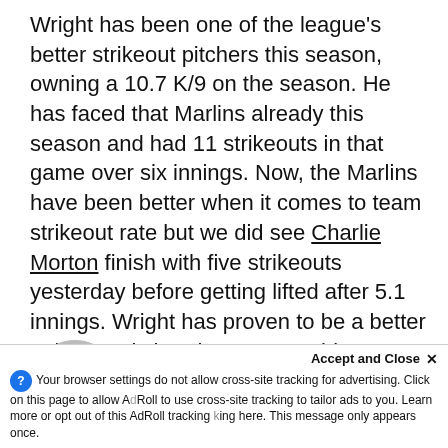Wright has been one of the league's better strikeout pitchers this season, owning a 10.7 K/9 on the season. He has faced that Marlins already this season and had 11 strikeouts in that game over six innings. Now, the Marlins have been better when it comes to team strikeout rate but we did see Charlie Morton finish with five strikeouts yesterday before getting lifted after 5.1 innings. Wright has proven to be a better strikeout pitcher than Morton this season so I will go ahead and make the bet that he can hit the over here as he comes off a nine strikeout performance against the Padres.
[Figure (photo): Player headshot photo (circular crop) and Houston Astros team logo (circular)]
Accept and Close ×
Your browser settings do not allow cross-site tracking for advertising. Click on this page to allow AdRoll to use cross-site tracking to tailor ads to you. Learn more or opt out of this AdRoll tracking by clicking here. This message only appears once.